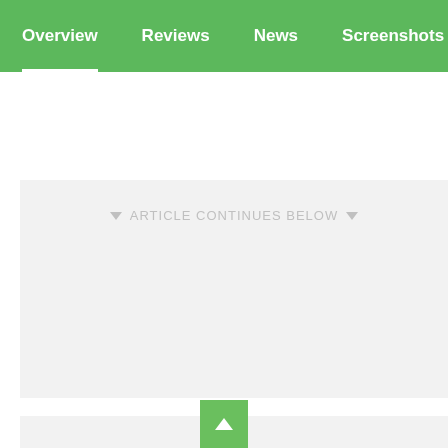Overview  Reviews  News  Screenshots  Disc
[Figure (screenshot): Ad placeholder area with text 'ARTICLE CONTINUES BELOW' flanked by two downward triangles, on a light gray background]
[Figure (other): Green scroll-to-top button with white upward arrow triangle at bottom center of page]